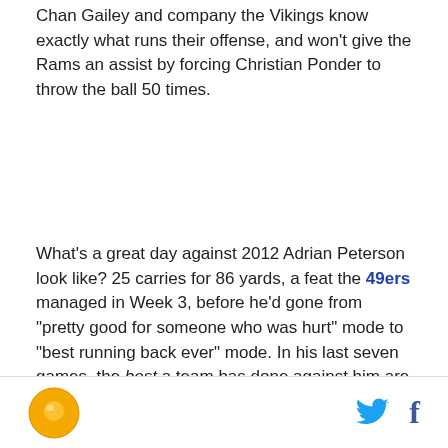Chan Gailey and company the Vikings know exactly what runs their offense, and won't give the Rams an assist by forcing Christian Ponder to throw the ball 50 times.
What's a great day against 2012 Adrian Peterson look like? 25 carries for 86 yards, a feat the 49ers managed in Week 3, before he'd gone from "pretty good for someone who was hurt" mode to "best running back ever" mode. In his last seven games, the best a team has done against him are the two times he's faced the Chicago Bears. On November he carried the ball just 18 times and only, as a result, gained 108 yards. Last week, during the Vikings' win, he took the ball 31 times and was held under five yards per carry for the first
logo | twitter | facebook